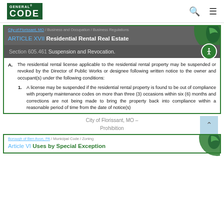GENERAL CODE [logo]
City of Florissant, MO / Business and Occupation / Business Regulations
ARTICLE XVII Residential Rental Real Estate
Section 605.461 Suspension and Revocation.
A. The residential rental license applicable to the residential rental property may be suspended or revoked by the Director of Public Works or designee following written notice to the owner and occupant(s) under the following conditions:
1. A license may be suspended if the residential rental property is found to be out of compliance with property maintenance codes on more than three (3) occasions within six (6) months and corrections are not being made to bring the property back into compliance within a reasonable period of time from the date of notice(s)
City of Florissant, MO – Prohibition
Borough of Ben Avon, PA / Municipal Code / Zoning
Article VI Uses by Special Exception